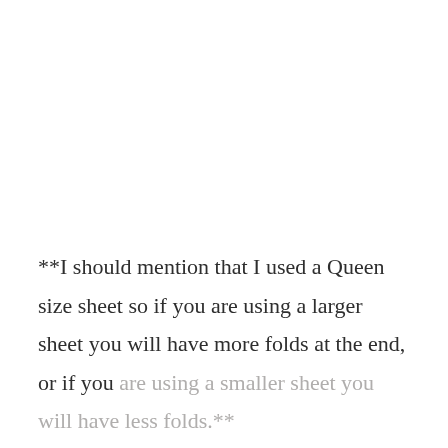**I should mention that I used a Queen size sheet so if you are using a larger sheet you will have more folds at the end, or if you are using a smaller sheet you will have less folds.**